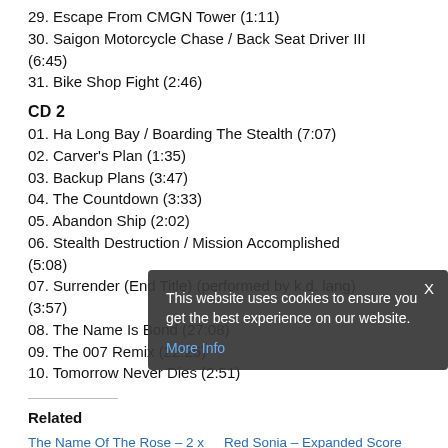29. Escape From CMGN Tower (1:11)
30. Saigon Motorcycle Chase / Back Seat Driver III (6:45)
31. Bike Shop Fight (2:46)
CD 2
01. Ha Long Bay / Boarding The Stealth (7:07)
02. Carver's Plan (1:35)
03. Backup Plans (3:47)
04. The Countdown (3:33)
05. Abandon Ship (2:02)
06. Stealth Destruction / Mission Accomplished (5:08)
07. Surrender (End Title) (performed by k.d. lang) (3:57)
08. The Name Is Bond (27:08)
09. The 007 Remix (22:25)
10. Tomorrow Never Dies (2:51)
Related
The Name Of The Rose – 2 x CD Complete Score – Limited Edition – James Horner | 25 June 2022 | Similar post
Red Sonia – Expanded Score – Limited 2000 Copies – Ennio Morricone | 6 August 2022 | Similar post
This website uses cookies to ensure you get the best experience on our website. More Info